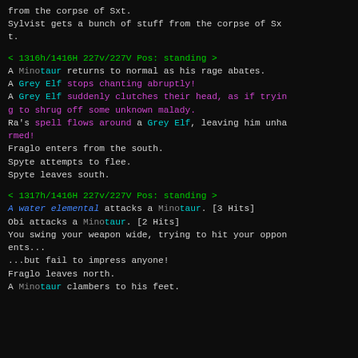from the corpse of Sxt.
Sylvist gets a bunch of stuff from the corpse of Sxt.
< 1316h/1416H 227v/227V Pos: standing >
A Minotaur returns to normal as his rage abates.
A Grey Elf stops chanting abruptly!
A Grey Elf suddenly clutches their head, as if trying to shrug off some unknown malady.
Ra's spell flows around a Grey Elf, leaving him unharmed!
Fraglo enters from the south.
Spyte attempts to flee.
Spyte leaves south.
< 1317h/1416H 227v/227V Pos: standing >
A water elemental attacks a Minotaur. [3 Hits]
Obi attacks a Minotaur. [2 Hits]
You swing your weapon wide, trying to hit your opponents...
...but fail to impress anyone!
Fraglo leaves north.
A Minotaur clambers to his feet.